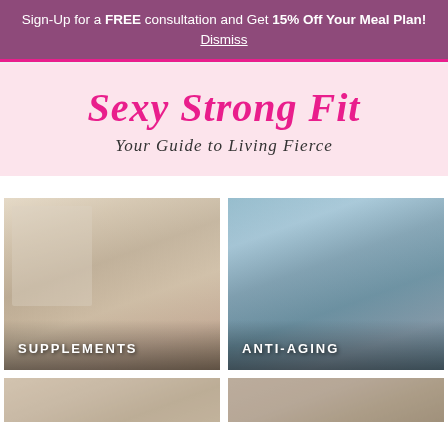Sign-Up for a FREE consultation and Get 15% Off Your Meal Plan!
Dismiss
[Figure (logo): Sexy Strong Fit logo with tagline 'Your Guide to Living Fierce' on pink background]
[Figure (photo): Woman in kitchen drinking a smoothie, with text label SUPPLEMENTS]
[Figure (photo): Woman posing outdoors, with text label ANTI-AGING]
[Figure (photo): Partial view of woman, bottom row left]
[Figure (photo): Partial view of woman, bottom row right]